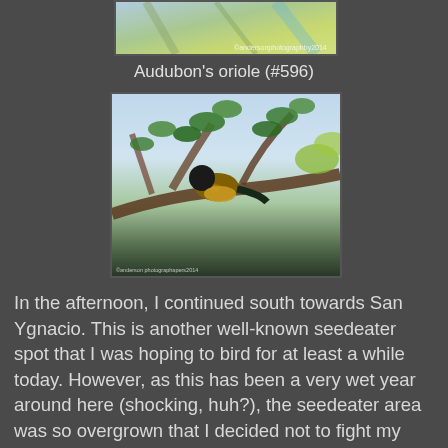[Figure (photo): Partial top image of a map or aerial/satellite view with watermark text]
Audubon's oriole (#596)
[Figure (photo): Photograph of an Audubon's oriole bird perched on a branch among green leaves, with a watermark at bottom left]
In the afternoon, I continued south towards San Ygnacio. This is another well-known seedeater spot that I was hoping to bird for at least a while today. However, as this has been a very wet year around here (shocking, huh?), the seedeater area was so overgrown that I decided not to fight my way through it. Instead, I continued south to my final destination.